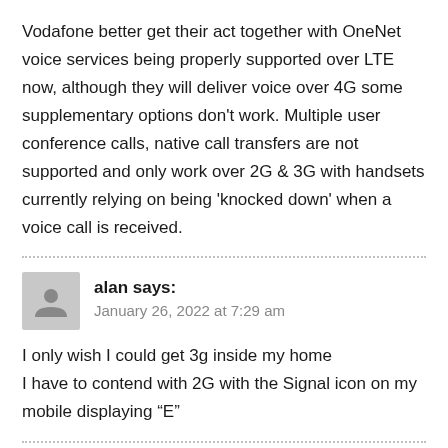Vodafone better get their act together with OneNet voice services being properly supported over LTE now, although they will deliver voice over 4G some supplementary options don't work. Multiple user conference calls, native call transfers are not supported and only work over 2G & 3G with handsets currently relying on being 'knocked down' when a voice call is received.
alan says:
January 26, 2022 at 7:29 am
I only wish I could get 3g inside my home
I have to contend with 2G with the Signal icon on my mobile displaying "E"